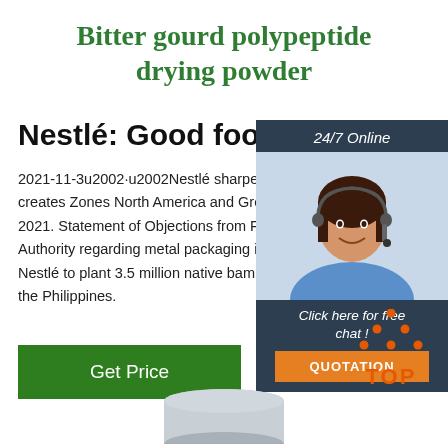Bitter gourd polypeptide drying powder
Nestlé: Good food, Good life
2021-11-3u2002·u2002Nestlé sharpens geographic focus and creates Zones North America and Greater China 2021. Statement of Objections from French Competition Authority regarding metal packaging in France. Commitment: Nestlé to plant 3.5 million native bamboo clumps in the Philippines.
Get Price
24/7 Online
Click here for free chat !
QUOTATION
[Figure (illustration): Back-to-top icon with orange dots forming a triangle above the word TOP in orange]
[Figure (photo): Partial view of a round tin/lid of bitter gourd polypeptide drying powder product at bottom of page]